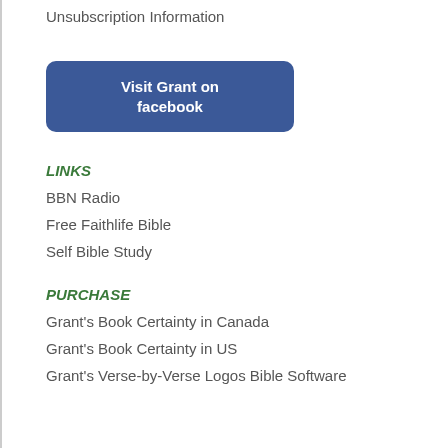Unsubscription Information
[Figure (other): Blue rounded rectangle button with white text: Visit Grant on facebook]
LINKS
BBN Radio
Free Faithlife Bible
Self Bible Study
PURCHASE
Grant's Book Certainty in Canada
Grant's Book Certainty in US
Grant's Verse-by-Verse Logos Bible Software